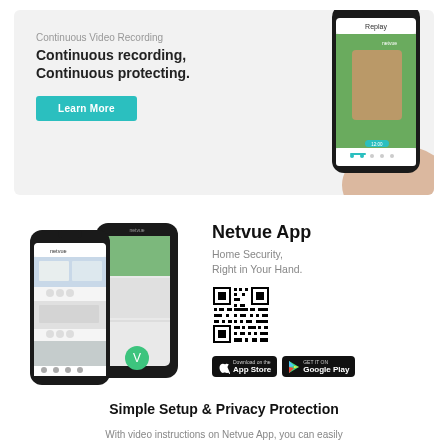[Figure (screenshot): Promotional banner showing Continuous Video Recording feature with a hand holding a smartphone displaying a cat replay screen, on a light gray background]
[Figure (screenshot): Netvue App section showing two smartphones with the Netvue app interface, alongside the app title, QR code, App Store and Google Play download buttons]
Simple Setup & Privacy Protection
With video instructions on Netvue App, you can easily